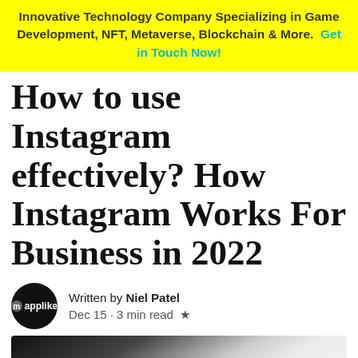Innovative Technology Company Specializing in Game Development, NFT, Metaverse, Blockchain & More. Get in Touch Now!
How to use Instagram effectively? How Instagram Works For Business in 2022
Written by Niel Patel
Dec 15 · 3 min read ★
[Figure (photo): Close-up photo of a smartphone displaying the Instagram logo/wordmark in cursive script against a white background, with a dark diagonal band across the top-left.]